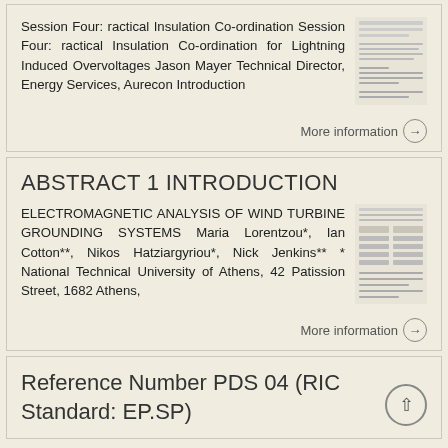Session Four: ractical Insulation Co-ordination Session Four: ractical Insulation Co-ordination for Lightning Induced Overvoltages Jason Mayer Technical Director, Energy Services, Aurecon Introduction
[Figure (screenshot): Thumbnail of a document page with text and table content]
More information →
ABSTRACT 1 INTRODUCTION
ELECTROMAGNETIC ANALYSIS OF WIND TURBINE GROUNDING SYSTEMS Maria Lorentzou*, Ian Cotton**, Nikos Hatziargyriou*, Nick Jenkins** * National Technical University of Athens, 42 Patission Street, 1682 Athens,
[Figure (screenshot): Thumbnail of a document page with text and table content]
More information →
Reference Number PDS 04 (RIC Standard: EP.SP)